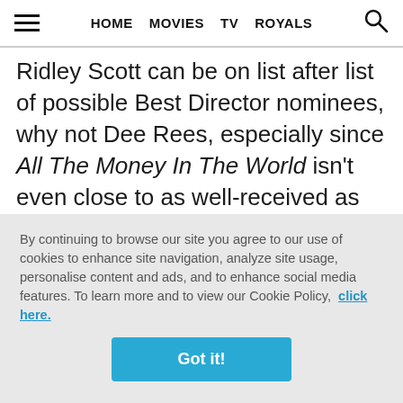HOME MOVIES TV ROYALS
Ridley Scott can be on list after list of possible Best Director nominees, why not Dee Rees, especially since All The Money In The World isn't even close to as well-received as Mudbound has been. The thing with Ridley, of course, is that
By continuing to browse our site you agree to our use of cookies to enhance site navigation, analyze site usage, personalise content and ads, and to enhance social media features. To learn more and to view our Cookie Policy, click here.
Got it!